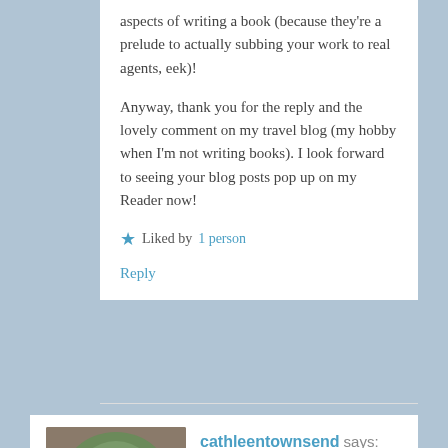aspects of writing a book (because they're a prelude to actually subbing your work to real agents, eek)!
Anyway, thank you for the reply and the lovely comment on my travel blog (my hobby when I'm not writing books). I look forward to seeing your blog posts pop up on my Reader now!
★ Liked by 1 person
Reply
cathleentownsend says:
August 23, 2016 at 12:45 pm
Anna, it's always nice to make blog contact with Absolute Write members. I enjoyed your first chapter–